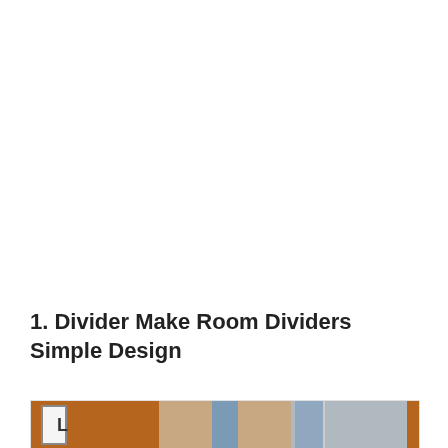1. Divider Make Room Dividers Simple Design
[Figure (photo): Photo of room dividers showing a simple design with wood-framed panels. Left panel is brown/orange with a white rectangular element marked with 'L', center shows a blue-grey sliding door panel against a beige wall, right side shows blue-grey panels with wood accents.]